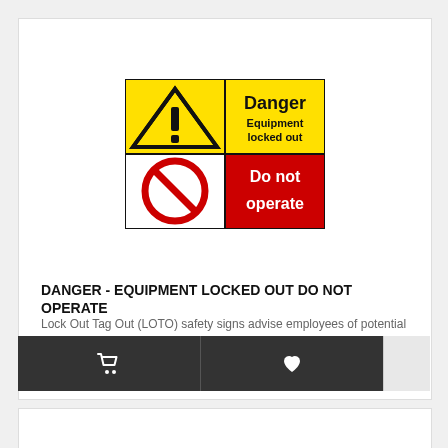[Figure (illustration): Safety sign: top-left yellow quadrant with black warning triangle and exclamation mark; top-right yellow quadrant with bold black text 'Danger Equipment locked out'; bottom-left white/red quadrant with red prohibition circle-slash symbol; bottom-right red quadrant with bold white text 'Do not operate'. Black border around entire sign.]
DANGER - EQUIPMENT LOCKED OUT DO NOT OPERATE
Lock Out Tag Out (LOTO) safety signs advise employees of potential dangers. Using the LOTO procedure..